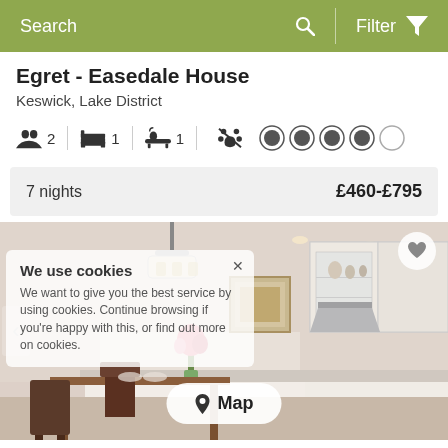Search   Filter
Egret - Easedale House
Keswick, Lake District
2 guests  1 bedroom  1 bathroom  no pets  4 stars rating
7 nights   £460-£795
[Figure (photo): Interior photo of a kitchen/dining area with chandelier, white cabinets, and dining table. Overlaid with a cookie consent notice and a Map button.]